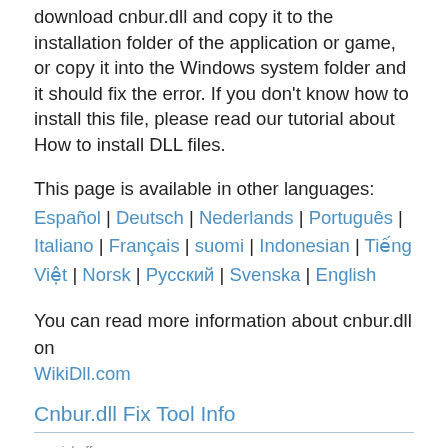download cnbur.dll and copy it to the installation folder of the application or game, or copy it into the Windows system folder and it should fix the error. If you don't know how to install this file, please read our tutorial about How to install DLL files.
This page is available in other languages: Español | Deutsch | Nederlands | Português | Italiano | Français | suomi | Indonesian | Tiếng Việt | Norsk | Русский | Svenska | English
You can read more information about cnbur.dll on WikiDll.com
Cnbur.dll Fix Tool Info
special offer
File name: fix_cnbur.dll-setup.exe
Tool's Developer: Restoro